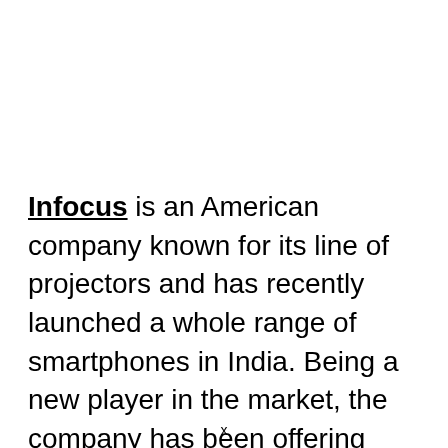Infocus is an American company known for its line of projectors and has recently launched a whole range of smartphones in India. Being a new player in the market, the company has been offering smartphones with amazing features at reasonable price. The latest smartphone from the company is touted as the Bingo 5...
x